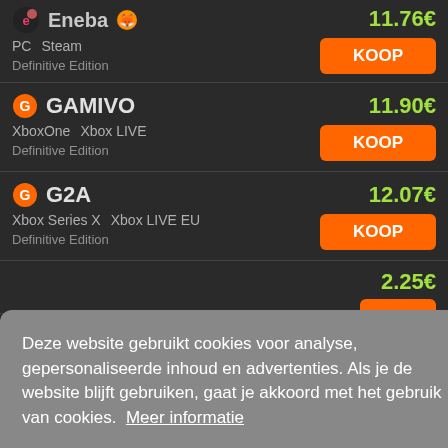Eneba | PC Steam | Definitive Edition | 11.76€ | KOOP
GAMIVO | XboxOne Xbox LIVE | Definitive Edition | 11.90€ | KOOP
G2A | Xbox Series X Xbox LIVE EU | Definitive Edition | 12.07€ | KOOP
12.25€ | OOP (partially visible)
12.27€ | OOP (partially visible)
Deze website gebruikt cookies voor analyse, gepersonaliseerde inhoud en advertenties. Als je de website blijft gebruiken, gaat je akkoord met het gebruik van cookies. Meer informatie
Weigeren | Toestaan